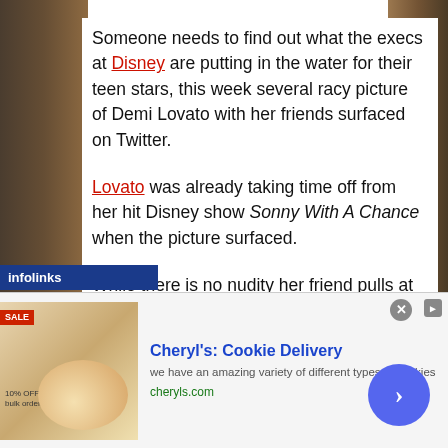Someone needs to find out what the execs at Disney are putting in the water for their teen stars, this week several racy picture of Demi Lovato with her friends surfaced on Twitter.
Lovato was already taking time off from her hit Disney show Sonny With A Chance when the picture surfaced.
While there is no nudity her friend pulls at her cleavage and looks at her breasts, not the best example Disney could be sending to their young
[Figure (screenshot): Advertisement banner for Cheryl's Cookie Delivery with cookie image, blue CTA button with arrow, close button]